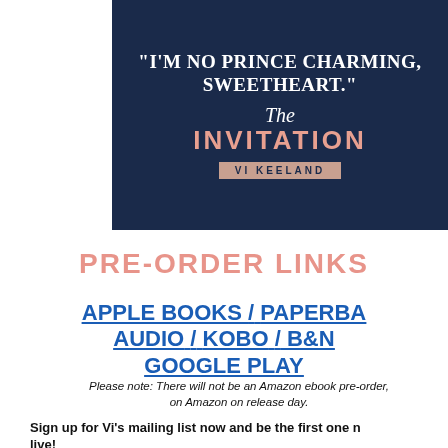[Figure (illustration): Book cover for 'The Invitation' by Vi Keeland showing a man in a dark suit with the quote: 'I'm no Prince Charming, sweetheart.' displayed prominently in white text, with the title in salmon/pink and the author name in a beige banner.]
PRE-ORDER LINKS
APPLE BOOKS / PAPERBACK / AUDIO / KOBO / B&N / GOOGLE PLAY
Please note: There will not be an Amazon ebook pre-order, on Amazon on release day.
Sign up for Vi's mailing list now and be the first one to know when it's live!